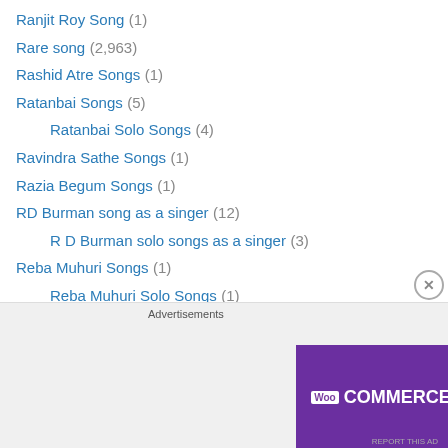Ranjit Roy Song (1)
Rare song (2,963)
Rashid Atre Songs (1)
Ratanbai Songs (5)
Ratanbai Solo Songs (4)
Ravindra Sathe Songs (1)
Razia Begum Songs (1)
RD Burman song as a singer (12)
R D Burman solo songs as a singer (3)
Reba Muhuri Songs (1)
Reba Muhuri Solo Songs (1)
Regional song in Hindi movies (2)
Regular's meet at Delhi (11)
Regulars meet at Chennai (1)
Regulars meet at Lucknow (1)
Regulars meet at Nagpur (2)
Regulars meet in USA (2)